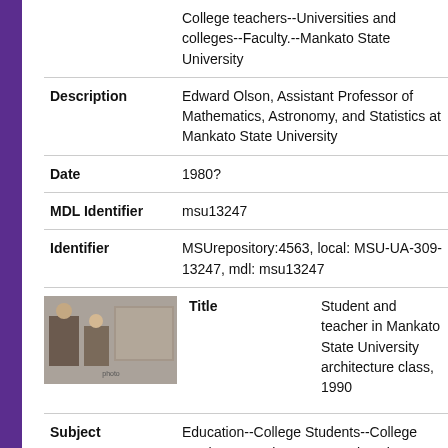|  | College teachers--Universities and colleges--Faculty.--Mankato State University |
| Description | Edward Olson, Assistant Professor of Mathematics, Astronomy, and Statistics at Mankato State University |
| Date | 1980? |
| MDL Identifier | msu13247 |
| Identifier | MSUrepository:4563, local: MSU-UA-309-13247, mdl: msu13247 |
[Figure (photo): Small thumbnail photo of a student and teacher in a classroom setting]
| Title | Student and teacher in Mankato State University architecture class, 1990 |
| Subject | Education--College Students--College teachers--Mankato State University, Education--College Students--College |